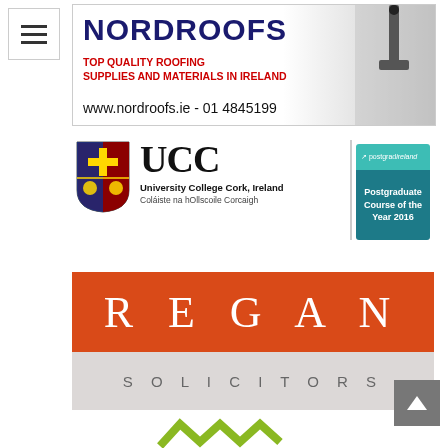[Figure (logo): Hamburger menu icon (three horizontal lines) in a square box]
[Figure (logo): Nordroofs banner: bold blue 'NORDROOFS' title, red subtitle 'TOP QUALITY ROOFING SUPPLIES AND MATERIALS IN IRELAND', website and phone 'www.nordroofs.ie - 01 4845199', with a pipe/roofing image on right]
[Figure (logo): UCC (University College Cork, Ireland) logo with shield and 'Coláiste na hOllscoile Corcaigh', alongside a teal/dark 'postgrad ireland - Postgraduate Course of the Year 2016' badge]
[Figure (logo): Regan Solicitors logo: orange-red rectangle with white serif 'REGAN' text in wide letter-spacing, below a light grey bar with 'SOLICITORS' in spaced sans-serif]
[Figure (logo): Partial green logo (zigzag/mountain mark) visible at bottom center]